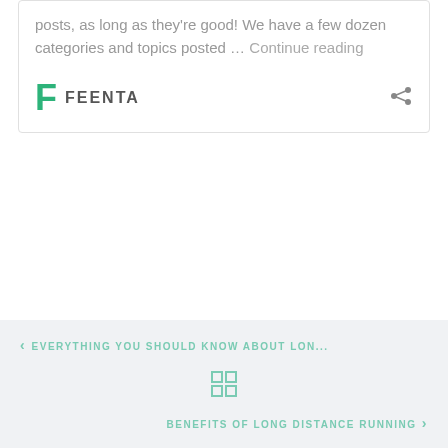posts, as long as they're good! We have a few dozen categories and topics posted … Continue reading
[Figure (logo): Feenta brand logo with green F letter and FEENTA text]
[Figure (other): Share icon (three connected dots)]
< EVERYTHING YOU SHOULD KNOW ABOUT LON...
[Figure (other): Grid/apps icon with four squares]
BENEFITS OF LONG DISTANCE RUNNING >